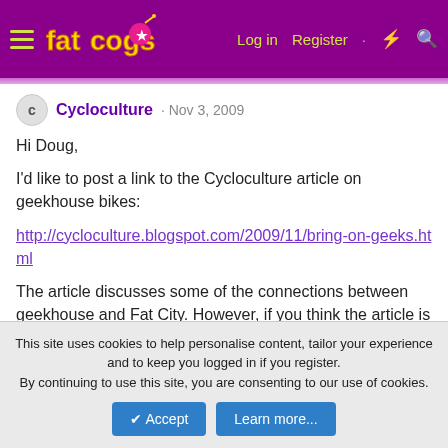Fat Cogs — Log in   Register
Cycloculture · Nov 3, 2009
Hi Doug,
I'd like to post a link to the Cycloculture article on geekhouse bikes:
http://cycloculture.blogspot.com/2009/11/bring-on-geeks.html
The article discusses some of the connections between geekhouse and Fat City. However, if you think the article is too spammy, I won't post it. Please let me know your thoughts.
Thanks!
This site uses cookies to help personalise content, tailor your experience and to keep you logged in if you register.
By continuing to use this site, you are consenting to our use of cookies.